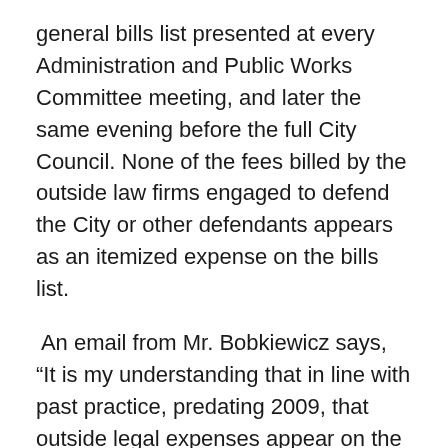general bills list presented at every Administration and Public Works Committee meeting, and later the same evening before the full City Council. None of the fees billed by the outside law firms engaged to defend the City or other defendants appears as an itemized expense on the bills list.
An email from Mr. Bobkiewicz says, “It is my understanding that in line with past practice, predating 2009, that outside legal expenses appear on the bills list for approval by Council as an aggregate amount, ‘casualty loss.’… The expenses are approved by City Council, but as an aggregate number.”